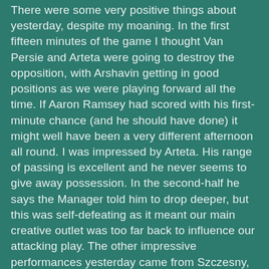There were some very positive things about yesterday, despite my moaning. In the first fifteen minutes of the game I thought Van Persie and Arteta were going to destroy the opposition, with Arshavin getting in good positions as we were playing forward all the time. If Aaron Ramsey had scored with his first-minute chance (and he should have done) it might well have been a very different afternoon all round. I was impressed by Arteta. His range of passing is excellent and he never seems to give away possession. In the second-half he says the Manager told him to drop deeper, but this was self-defeating as it meant our main creative outlet was too far back to influence our attacking play. The other impressive performances yesterday came from Szczesny, whose command of his penalty area in the second-half was outstanding (I'll leave aside the last minute error - though if that had been Almunia I doubt many would be so charitable - more on Almunia below), and also Frimpong and Koscielny. With Per